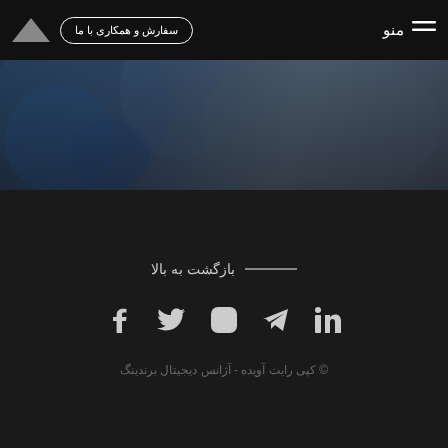منو | سفارش و همکاری با ما
[Figure (photo): Blurred background image showing a person with blue clothing, dark cinematic overlay]
بازگشت به بالا
[Figure (infographic): Social media icons row: LinkedIn, Telegram, Instagram, Twitter, Facebook]
© کپی رایت آویده - آژانس دیجیتال برندینگ